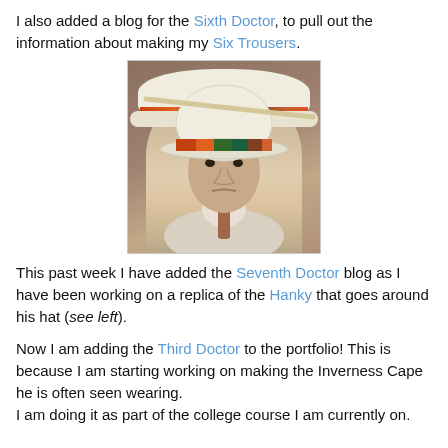I also added a blog for the Sixth Doctor, to pull out the information about making my Six Trousers.
[Figure (photo): Photo of the Seventh Doctor (Sylvester McCoy) wearing a cream-coloured hat with a colourful hatband/hanky, and a light-coloured suit with a patterned tie. He is looking slightly downward with a serious expression.]
This past week I have added the Seventh Doctor blog as I have been working on a replica of the Hanky that goes around his hat (see left).
Now I am adding the Third Doctor to the portfolio! This is because I am starting working on making the Inverness Cape he is often seen wearing.
I am doing it as part of the college course I am currently on.